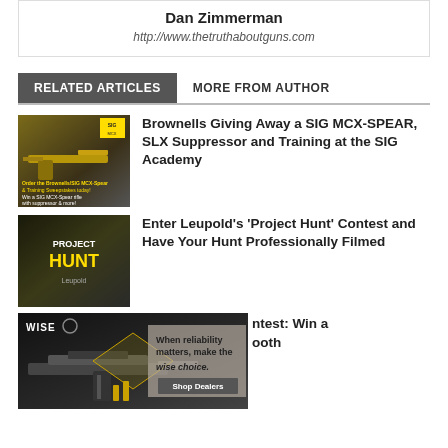Dan Zimmerman
http://www.thetruthaboutguns.com
RELATED ARTICLES
MORE FROM AUTHOR
[Figure (photo): Brownells SIG MCX-Spear rifle giveaway promotional image with gold/dark rifle]
Brownells Giving Away a SIG MCX-SPEAR, SLX Suppressor and Training at the SIG Academy
[Figure (photo): Leupold Project Hunt contest promotional image with dark outdoor hunting theme]
Enter Leupold's 'Project Hunt' Contest and Have Your Hunt Professionally Filmed
[Figure (photo): Wise Choice advertisement with rifle image and text: When reliability matters, make the wise choice. Shop Dealers]
ntest: Win a
ooth